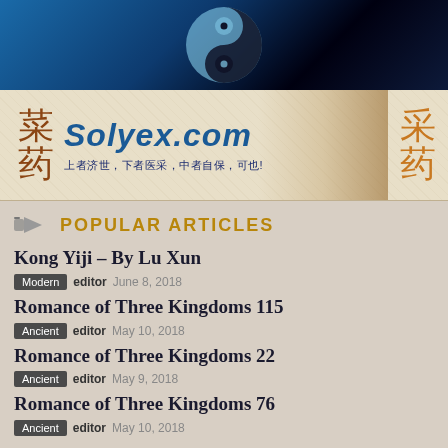[Figure (illustration): Banner image with yin-yang globe graphic on dark blue starry background]
[Figure (illustration): Solyex.com advertisement banner with Chinese kanji characters and text '上者济世，下者医采，中者自保，可也!']
POPULAR ARTICLES
Kong Yiji – By Lu Xun
Modern   editor   June 8, 2018
Romance of Three Kingdoms 115
Ancient   editor   May 10, 2018
Romance of Three Kingdoms 22
Ancient   editor   May 9, 2018
Romance of Three Kingdoms 76
Ancient   editor   May 10, 2018